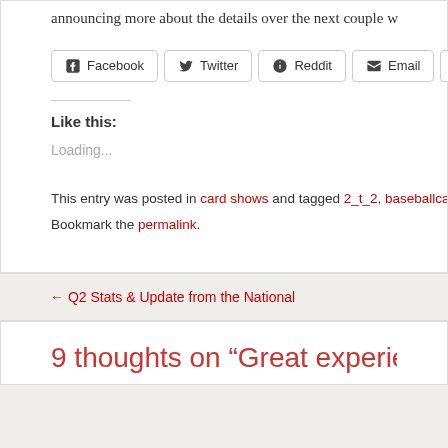announcing more about the details over the next couple w
Facebook Twitter Reddit Email More
Like this:
Loading...
This entry was posted in card shows and tagged 2_t_2, baseballcardsetc, Blo
Bookmark the permalink.
← Q2 Stats & Update from the National
9 thoughts on “Great experience at the Nat